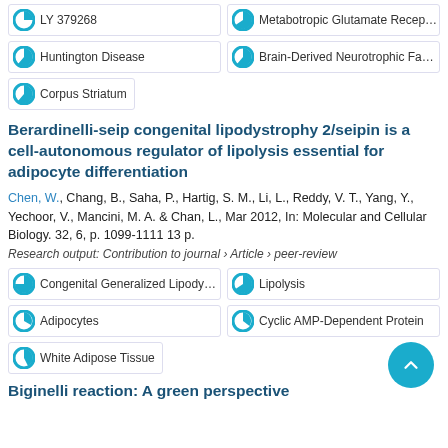LY 379268
Metabotropic Glutamate Recep…
Huntington Disease
Brain-Derived Neurotrophic Fa…
Corpus Striatum
Berardinelli-seip congenital lipodystrophy 2/seipin is a cell-autonomous regulator of lipolysis essential for adipocyte differentiation
Chen, W., Chang, B., Saha, P., Hartig, S. M., Li, L., Reddy, V. T., Yang, Y., Yechoor, V., Mancini, M. A. & Chan, L., Mar 2012, In: Molecular and Cellular Biology. 32, 6, p. 1099-1111 13 p.
Research output: Contribution to journal › Article › peer-review
Congenital Generalized Lipody…
Lipolysis
Adipocytes
Cyclic AMP-Dependent Protein
White Adipose Tissue
Biginelli reaction: A green perspective